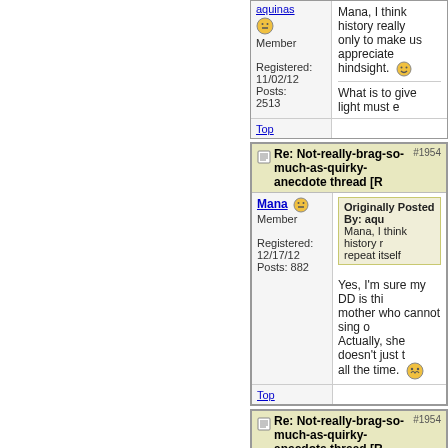aquinas — Member
Registered: 11/02/12
Posts: 2513
Mana, I think history really only to make us appreciate hindsight. [smiley]
What is to give light must e
Top
Re: Not-really-brag-so-much-as-quirky-anecdote thread [R... #1954
Mana — Member
Registered: 12/17/12
Posts: 882
Originally Posted By: aqu
Mana, I think history r repeat itself
Yes, I'm sure my DD is thi mother who cannot sing o Actually, she doesn't just t all the time. [smiley]
Top
Re: Not-really-brag-so-much-as-quirky-anecdote thread [R... #1954
aquinas
Originally Posted By: Ma